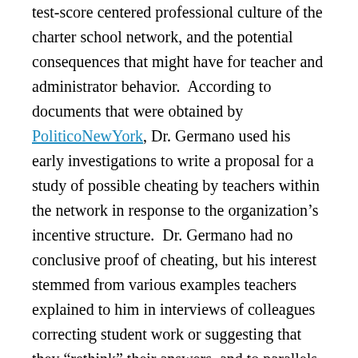test-score centered professional culture of the charter school network, and the potential consequences that might have for teacher and administrator behavior.  According to documents that were obtained by PoliticoNewYork, Dr. Germano used his early investigations to write a proposal for a study of possible cheating by teachers within the network in response to the organization's incentive structure.  Dr. Germano had no conclusive proof of cheating, but his interest stemmed from various examples teachers explained to him in interviews of colleagues correcting student work or suggesting that they “rethink” their answers, and to parallels he drew between Success’ high stakes environment and the Atlanta Public Schools where widespread cheating on standardized examinations eventually surfaced.  Dr.